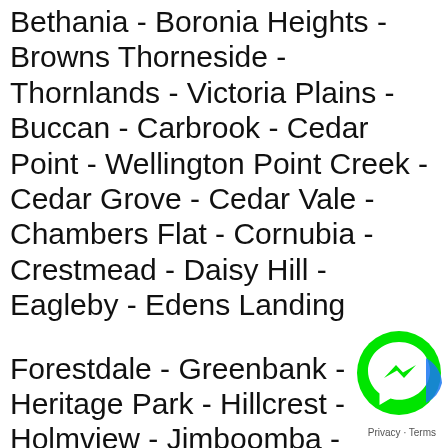Bethania - Boronia Heights - Browns Thorneside - Thornlands - Victoria Plains - Buccan - Carbrook - Cedar Point - Wellington Point Creek - Cedar Grove - Cedar Vale - Chambers Flat - Cornubia - Crestmead - Daisy Hill - Eagleby - Edens Landing
Forestdale - Greenbank - Heritage Park - Hillcrest - Holmview - Jimboomba - Kagaru - Kingston - Logan Central - Logan Reserve - Logan Village - Loganholme - Loganlea - Lyons - Marsden - Marsden... - Mount Warren - Dal...
[Figure (illustration): Facebook Messenger chat widget button (green circle with white lightning bolt/messenger icon)]
Privacy · Terms